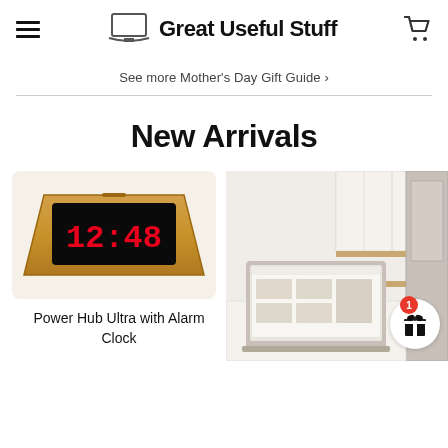Great Useful Stuff
See more Mother's Day Gift Guide ›
New Arrivals
[Figure (photo): Wooden alarm clock with red LED display showing 12:48]
Power Hub Ultra with Alarm Clock
[Figure (photo): Laptop on kitchen counter with a website open, gift icon badge with notification dot showing number 1]